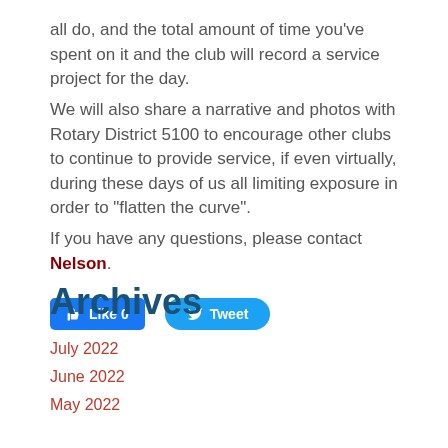all do, and the total amount of time you've spent on it and the club will record a service project for the day.
We will also share a narrative and photos with Rotary District 5100 to encourage other clubs to continue to provide service, if even virtually, during these days of us all limiting exposure in order to "flatten the curve".
If you have any questions, please contact Nelson.
[Figure (screenshot): Facebook Like button showing 'Like 0' and a Twitter Tweet button]
Archives
July 2022
June 2022
May 2022